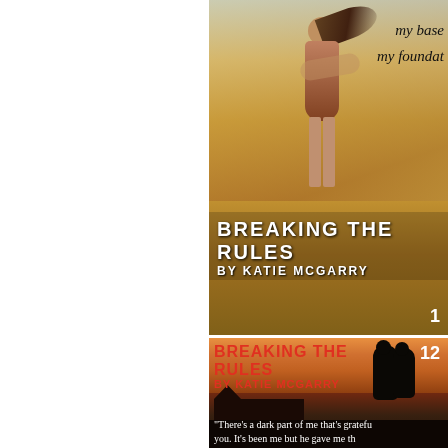[Figure (illustration): Top book cover for 'Breaking the Rules by Katie McGarry'. Shows a woman in a field of golden wheat with hair blowing, handwritten text 'my base... my foundat...' in top right corner, bold white title text at bottom, number 1 bottom right.]
[Figure (illustration): Bottom book cover for 'Breaking the Rules by Katie McGarry'. Shows silhouette of couple kissing against sunset sky with barn silhouette, red title text top left, number 12 top right, white quote text at bottom: 'There's a dark part of me that's grateful... you. It's been me but he gave me th...']